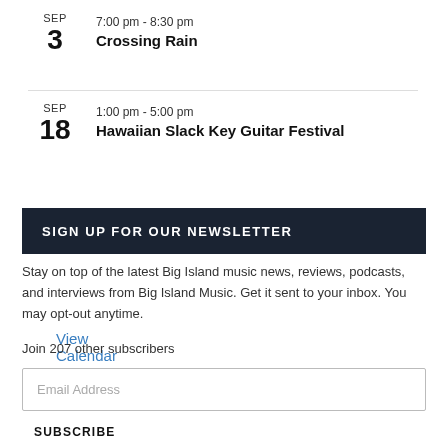SEP 3 — 7:00 pm - 8:30 pm — Crossing Rain
SEP 18 — 1:00 pm - 5:00 pm — Hawaiian Slack Key Guitar Festival
View Calendar
SIGN UP FOR OUR NEWSLETTER
Stay on top of the latest Big Island music news, reviews, podcasts, and interviews from Big Island Music. Get it sent to your inbox. You may opt-out anytime.
Join 207 other subscribers
Email Address
SUBSCRIBE